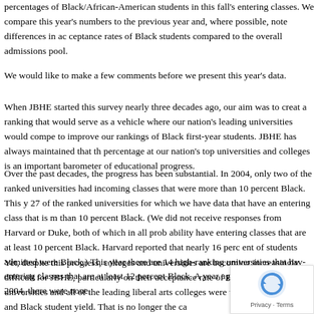percentages of Black/African-American students in this fall's entering classes. We compare this year's numbers to the previous year and, where possible, note differences in acceptance rates of Black students compared to the overall admissions pool.
We would like to make a few comments before we present this year's data.
When JBHE started this survey nearly three decades ago, our aim was to create a ranking that would serve as a vehicle where our nation's leading universities would compete to improve our rankings of Black first-year students. JBHE has always maintained that the percentage at our nation's top universities and colleges is an important barometer of educational progress.
Over the past decades, the progress has been substantial. In 2004, only two of our ranked universities had incoming classes that were more than 10 percent Black. This year, 27 of the ranked universities for which we have data that have an entering class that is more than 10 percent Black. (We did not receive responses from Harvard or Duke, both of which in all probability have entering classes that are at least 10 percent Black. Harvard reported that nearly 16 percent of students admitted were Black.) This year there are 14 high-ranking universities that have entering classes that are at least 12 percent Black. A year ago there were eight. In 2004, there were none.
Yet, despite this progress, colleges and universities are becoming increasingly reluctant to share data with JBHE, particularly on their acceptance rate of Black students. When JBHE began this survey, most universities and all of the leading liberal arts colleges were willing to share data on their overall acceptance rate and Black student yield. That is no longer the case.